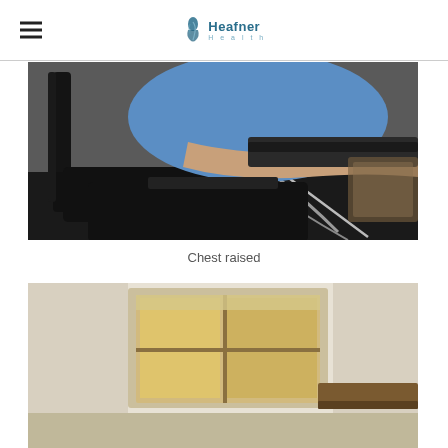Heafner Health
[Figure (photo): Close-up side view of a person in a blue shirt sitting on a black chair at a desk, showing seated posture with arm resting on desk surface.]
Chest raised
[Figure (photo): Partial view of a room with a window showing natural light and a wooden desk, beginning of another posture demonstration photo.]